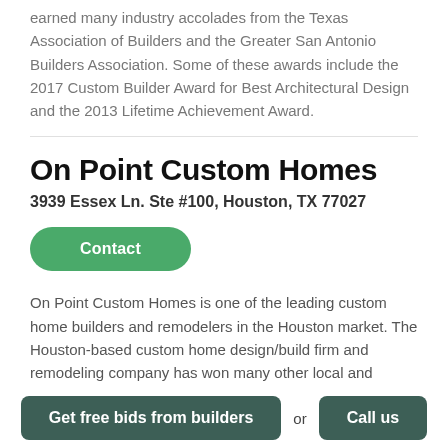earned many industry accolades from the Texas Association of Builders and the Greater San Antonio Builders Association. Some of these awards include the 2017 Custom Builder Award for Best Architectural Design and the 2013 Lifetime Achievement Award.
On Point Custom Homes
3939 Essex Ln. Ste #100, Houston, TX 77027
Contact
On Point Custom Homes is one of the leading custom home builders and remodelers in the Houston market. The Houston-based custom home design/build firm and remodeling company has won many other local and national accolades. Most recently it received two 2018 Silver Awards from the NAHB Best
Get free bids from builders   or   Call us